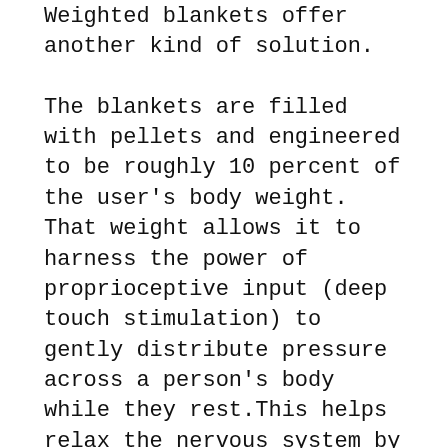Weighted blankets offer another kind of solution.
The blankets are filled with pellets and engineered to be roughly 10 percent of the user's body weight. That weight allows it to harness the power of proprioceptive input (deep touch stimulation) to gently distribute pressure across a person's body while they rest.This helps relax the nervous system by increasing serotonin and melatonin levels while decreasing cortisol levels.
Researchers from the University of Gothenburg, Sweden, noted that "when the participants used the weighted blanket, they had a calmer night's